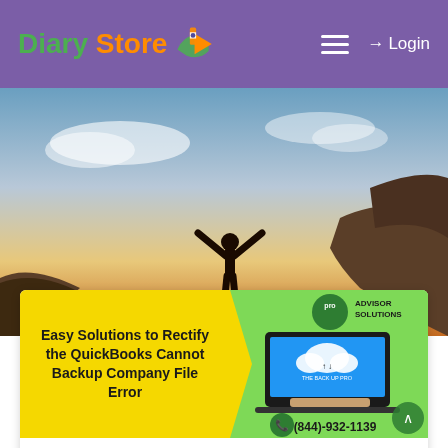Diary Store — Login
[Figure (photo): Person standing on a rock cliff with arms raised in silhouette against a dramatic sunset sky]
[Figure (infographic): Article banner with yellow left panel titled 'Easy Solutions to Rectify the QuickBooks Cannot Backup Company File Error' and green right panel showing a laptop with cloud backup icon, Pro Advisor Solutions logo, and phone number (844)-932-1139]
Add new comment  25 reads